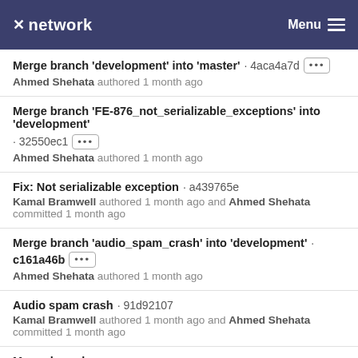network  Menu
Merge branch 'development' into 'master' · 4aca4a7d  Ahmed Shehata authored 1 month ago
Merge branch 'FE-876_not_serializable_exceptions' into 'development' · 32550ec1  Ahmed Shehata authored 1 month ago
Fix: Not serializable exception · a439765e  Kamal Bramwell authored 1 month ago and Ahmed Shehata committed 1 month ago
Merge branch 'audio_spam_crash' into 'development' · c161a46b  Ahmed Shehata authored 1 month ago
Audio spam crash · 91d92107  Kamal Bramwell authored 1 month ago and Ahmed Shehata committed 1 month ago
Merge branch ...